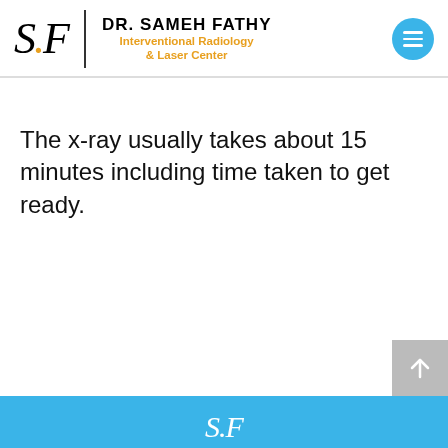Dr. Sameh Fathy Interventional Radiology & Laser Center
The x-ray usually takes about 15 minutes including time taken to get ready.